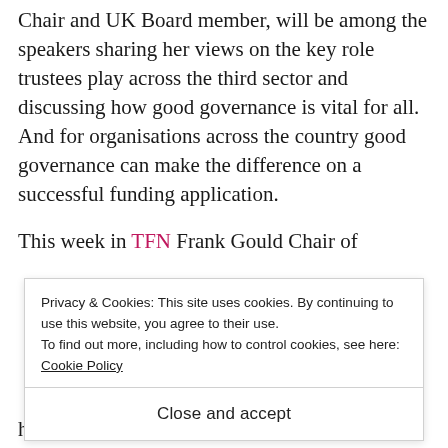Chair and UK Board member, will be among the speakers sharing her views on the key role trustees play across the third sector and discussing how good governance is vital for all. And for organisations across the country good governance can make the difference on a successful funding application.
This week in TFN Frank Gould Chair of
Privacy & Cookies: This site uses cookies. By continuing to use this website, you agree to their use. To find out more, including how to control cookies, see here: Cookie Policy
Close and accept
have to rise about the politics and remember